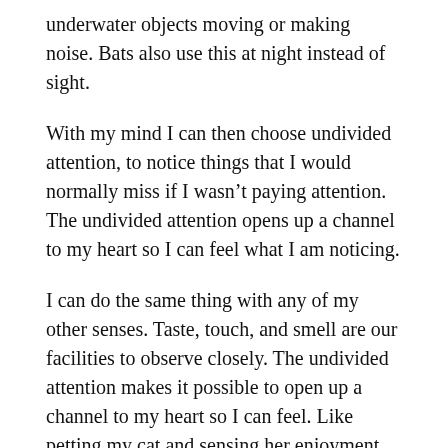underwater objects moving or making noise. Bats also use this at night instead of sight.
With my mind I can then choose undivided attention, to notice things that I would normally miss if I wasn't paying attention. The undivided attention opens up a channel to my heart so I can feel what I am noticing.
I can do the same thing with any of my other senses. Taste, touch, and smell are our facilities to observe closely. The undivided attention makes it possible to open up a channel to my heart so I can feel. Like petting my cat and sensing her enjoyment.